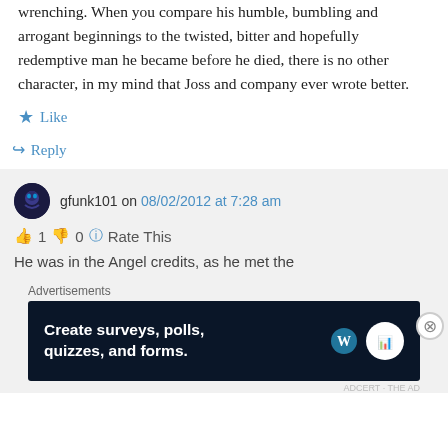wrenching. When you compare his humble, bumbling and arrogant beginnings to the twisted, bitter and hopefully redemptive man he became before he died, there is no other character, in my mind that Joss and company ever wrote better.
★ Like
↪ Reply
gfunk101 on 08/02/2012 at 7:28 am
👍 1 👎 0 ℹ Rate This
He was in the Angel credits, as he met the
Advertisements
[Figure (screenshot): Advertisement banner: dark navy background with text 'Create surveys, polls, quizzes, and forms.' and WordPress logo and survey icon on right.]